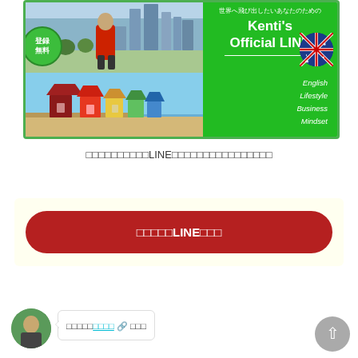[Figure (photo): Promotional banner for Kenti's Official LINE. Left side shows two photos: top photo of a person in red hoodie with city skyline background (Melbourne), bottom photo of colorful beach huts. Right side is green with Japanese text 世界へ飛び出したいあなたのための, 'Kenti's Official LINE', and keywords English, Lifestyle, Business, Mindset in italic white text. Australian flag circle and 登録無料 green badge visible.]
□□□□□□□□□□LINE□□□□□□□□□□□□□□□□
□□□□□LINE□□□
□□□□□□□□□□ □□□